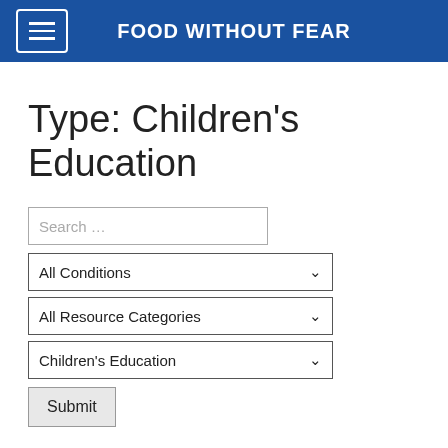FOOD WITHOUT FEAR
Type: Children's Education
Search ...
All Conditions
All Resource Categories
Children's Education
Submit
What's in this Cookie?